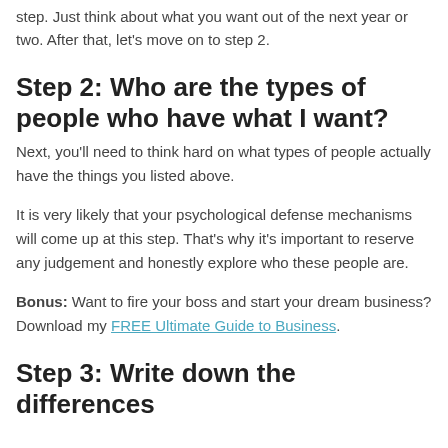step. Just think about what you want out of the next year or two. After that, let’s move on to step 2.
Step 2: Who are the types of people who have what I want?
Next, you’ll need to think hard on what types of people actually have the things you listed above.
It is very likely that your psychological defense mechanisms will come up at this step. That’s why it’s important to reserve any judgement and honestly explore who these people are.
Bonus: Want to fire your boss and start your dream business? Download my FREE Ultimate Guide to Business.
Step 3: Write down the differences